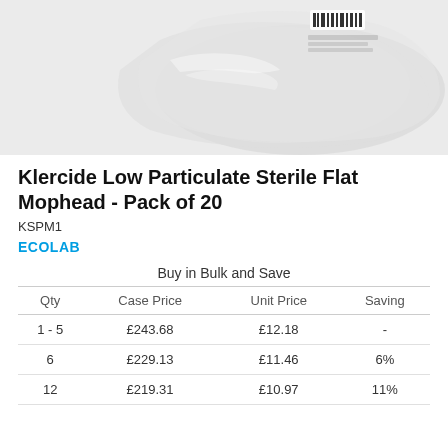[Figure (photo): Product photo of Klercide Low Particulate Sterile Flat Mophead in clear plastic packaging bag]
Klercide Low Particulate Sterile Flat Mophead - Pack of 20
KSPM1
ECOLAB
Buy in Bulk and Save
| Qty | Case Price | Unit Price | Saving |
| --- | --- | --- | --- |
| 1 - 5 | £243.68 | £12.18 | - |
| 6 | £229.13 | £11.46 | 6% |
| 12 | £219.31 | £10.97 | 11% |